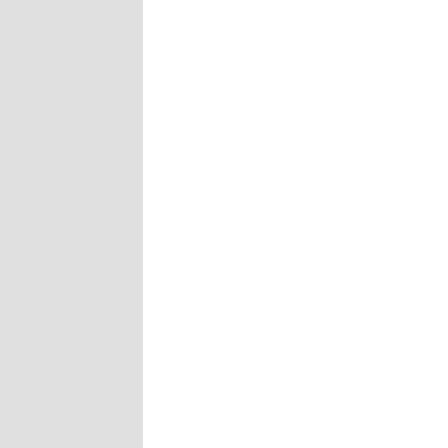in through Mena, Arkansas. He is very sick and probably won't live much longer, but he is trying to organize 1000 people to make phone calls if the leftist/co